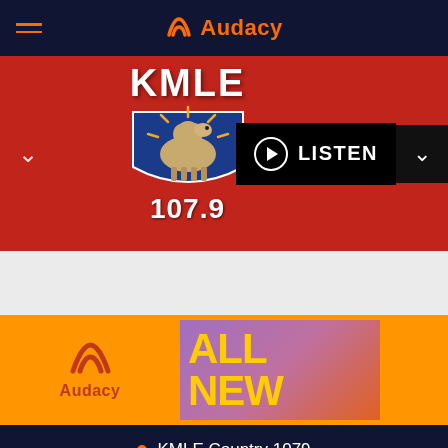Audacy
[Figure (logo): KMLE 107.9 radio station logo with camel mascot on red background]
[Figure (screenshot): Audacy orange promotional banner with partial 'ALL NEW' text]
KMLE Country 1079
[Figure (other): Orange circular play button]